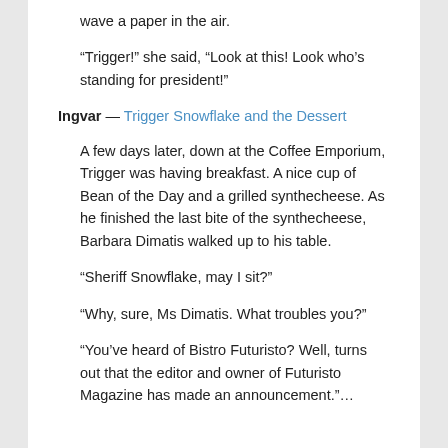wave a paper in the air.
“Trigger!” she said, “Look at this! Look who’s standing for president!”
Ingvar — Trigger Snowflake and the Dessert
A few days later, down at the Coffee Emporium, Trigger was having breakfast. A nice cup of Bean of the Day and a grilled synthecheese. As he finished the last bite of the synthecheese, Barbara Dimatis walked up to his table.
“Sheriff Snowflake, may I sit?”
“Why, sure, Ms Dimatis. What troubles you?”
“You’ve heard of Bistro Futuristo? Well, turns out that the editor and owner of Futuristo Magazine has made an announcement.”…